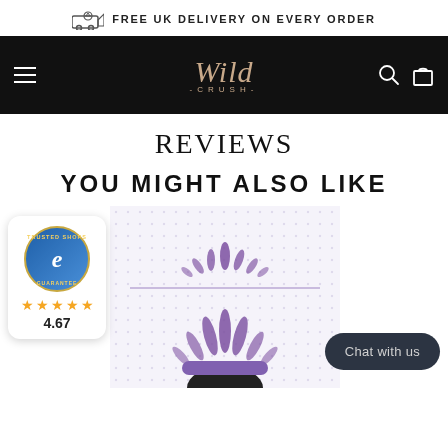FREE UK DELIVERY ON EVERY ORDER
[Figure (logo): Wild Crush logo in gold script on black navigation bar with hamburger menu, search icon, and bag icon]
REVIEWS
YOU MIGHT ALSO LIKE
[Figure (illustration): Purple decorative crown/headdress product image on dotted grid background]
[Figure (logo): Trusted Shops e-Guarantee badge with 4.67 star rating in gold stars]